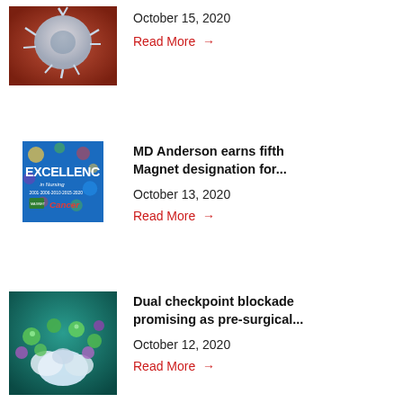[Figure (photo): Microscopic image of a cell or virus on a reddish-brown background]
October 15, 2020
Read More →
[Figure (photo): Excellence in Nursing award image showing years 2001-2006-2010-2015-2020 with Cancer center logo on blue background]
MD Anderson earns fifth Magnet designation for...
October 13, 2020
Read More →
[Figure (photo): 3D illustration of immune cells (colorful spheres) attacking cancer cells (white irregular shapes) on teal background]
Dual checkpoint blockade promising as pre-surgical...
October 12, 2020
Read More →